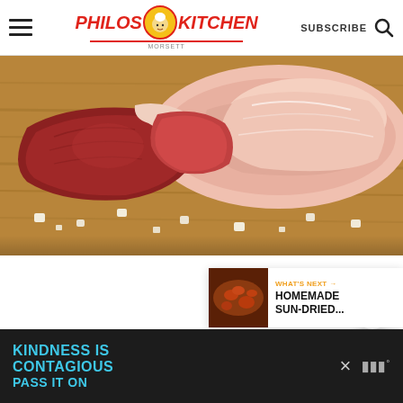Philos Kitchen - SUBSCRIBE
[Figure (photo): Raw meat cuts on a wooden cutting board with coarse salt crystals scattered around]
[Figure (infographic): Share button (orange icon with share symbol and plus sign) in a white circle]
[Figure (infographic): What's Next card showing a thumbnail of sun-dried tomatoes with text: WHAT'S NEXT → HOMEMADE SUN-DRIED...]
KINDNESS IS CONTAGIOUS PASS IT ON